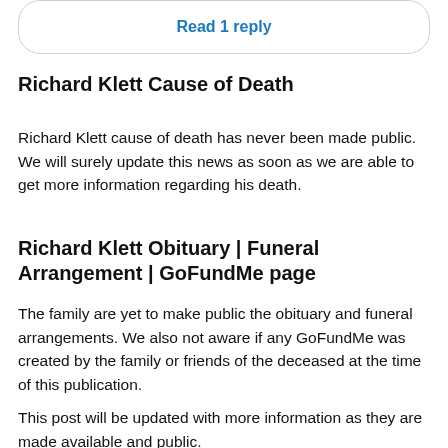Read 1 reply
Richard Klett Cause of Death
Richard Klett cause of death has never been made public. We will surely update this news as soon as we are able to get more information regarding his death.
Richard Klett Obituary | Funeral Arrangement | GoFundMe page
The family are yet to make public the obituary and funeral arrangements. We also not aware if any GoFundMe was created by the family or friends of the deceased at the time of this publication.
This post will be updated with more information as they are made available and public.